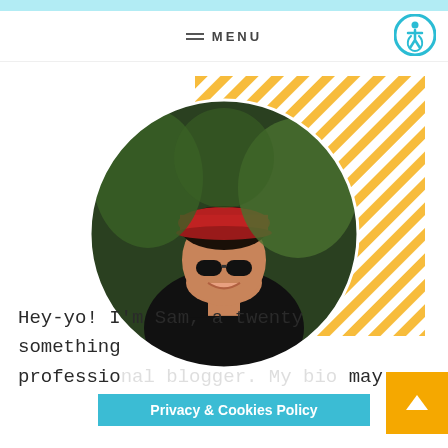MENU
[Figure (photo): Circular profile photo of a young woman smiling, wearing a red cap and sunglasses, with a yellow diagonal stripe pattern decoration in the background top-right]
Hey-yo! I'm Sam, a twenty something professio... may
Privacy & Cookies Policy